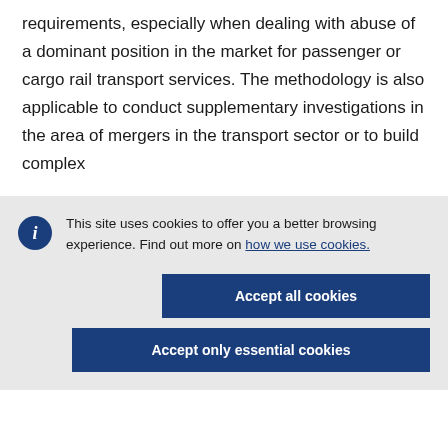requirements, especially when dealing with abuse of a dominant position in the market for passenger or cargo rail transport services. The methodology is also applicable to conduct supplementary investigations in the area of mergers in the transport sector or to build complex
This site uses cookies to offer you a better browsing experience. Find out more on how we use cookies.
Accept all cookies
Accept only essential cookies